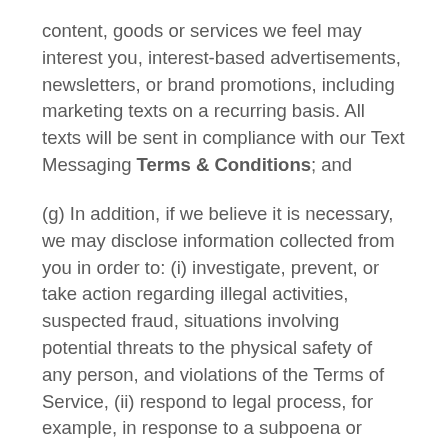content, goods or services we feel may interest you, interest-based advertisements, newsletters, or brand promotions, including marketing texts on a recurring basis. All texts will be sent in compliance with our Text Messaging Terms & Conditions; and
(g) In addition, if we believe it is necessary, we may disclose information collected from you in order to: (i) investigate, prevent, or take action regarding illegal activities, suspected fraud, situations involving potential threats to the physical safety of any person, and violations of the Terms of Service, (ii) respond to legal process, for example, in response to a subpoena or court order, (iii) respond to a law enforcement agency's request, (iv) verify or enforce compliance with the policies governing our Sites and applicable laws and (v) establish or exercise our legal rights, defend against legal claims, and as otherwise required or permitted by